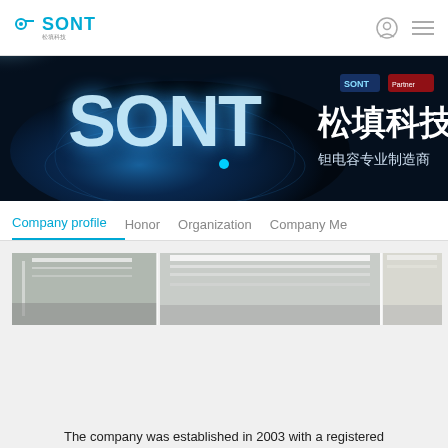SONT
[Figure (illustration): SONT company banner with large glowing 3D letters 'SONT' on a dark blue globe background, with Chinese text '松填科技' and '钽电容专业制造商' on the right side, alongside SONT and partner logos]
Company profile   Honor   Organization   Company Me
[Figure (photo): Interior photo strip of a factory/office facility showing a brightly lit room with ceiling lights and clean white walls, shown across three panels]
The company was established in 2003 with a registered